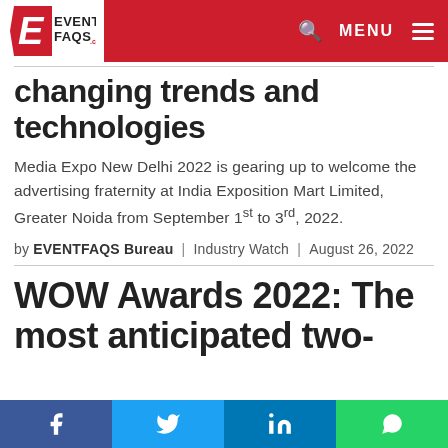EVENTFAQS.com | MENU
changing trends and technologies
Media Expo New Delhi 2022 is gearing up to welcome the advertising fraternity at India Exposition Mart Limited, Greater Noida from September 1st to 3rd, 2022.
by EVENTFAQS Bureau | Industry Watch | August 26, 2022
WOW Awards 2022: The most anticipated two-